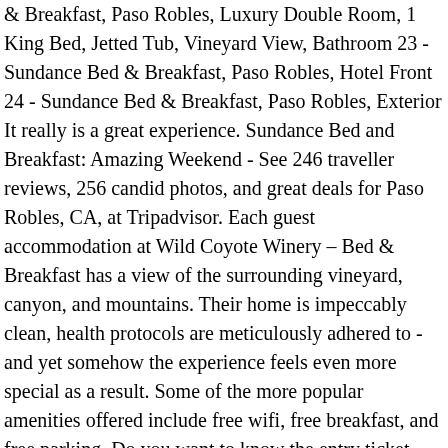& Breakfast, Paso Robles, Luxury Double Room, 1 King Bed, Jetted Tub, Vineyard View, Bathroom 23 - Sundance Bed & Breakfast, Paso Robles, Hotel Front 24 - Sundance Bed & Breakfast, Paso Robles, Exterior It really is a great experience. Sundance Bed and Breakfast: Amazing Weekend - See 246 traveller reviews, 256 candid photos, and great deals for Paso Robles, CA, at Tripadvisor. Each guest accommodation at Wild Coyote Winery – Bed & Breakfast has a view of the surrounding vineyard, canyon, and mountains. Their home is impeccably clean, health protocols are meticulously adhered to - and yet somehow the experience feels even more special as a result. Some of the more popular amenities offered include free wifi, free breakfast, and free parking. Do you want to know the entry ticket price for Sundance Bed And Breakfast? We are glad to hear you had a nice stay. Thank you so much for taking the time, but especially, for so eloquently sharing with others your experience here at Sundance. We can't wait to get back and sign up for the dinners they will be